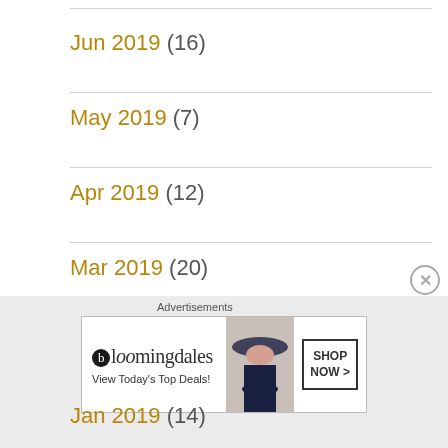Jun 2019 (16)
May 2019 (7)
Apr 2019 (12)
Mar 2019 (20)
Feb 2019 (10)
Jan 2019 (14)
[Figure (other): Bloomingdale's advertisement banner: 'View Today's Top Deals! SHOP NOW >']